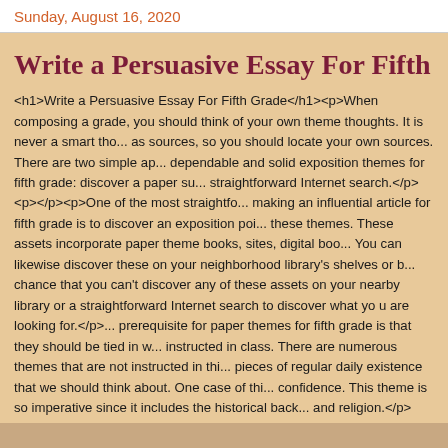Sunday, August 16, 2020
Write a Persuasive Essay For Fifth Grade
<h1>Write a Persuasive Essay For Fifth Grade</h1><p>When composing a grade, you should think of your own theme thoughts. It is never a smart thought to use as sources, so you should locate your own sources. There are two simple approaches for dependable and solid exposition themes for fifth grade: discover a paper subject with a straightforward Internet search.</p><p></p><p>One of the most straightforward methods for making an influential article for fifth grade is to discover an exposition point through these themes. These assets incorporate paper theme books, sites, digital books, etc. You can likewise discover these on your neighborhood library's shelves or by chance that you can't discover any of these assets on your nearby library or a straightforward Internet search to discover what yo u are looking for.</p>prerequisite for paper themes for fifth grade is that they should be tied in with what is instructed in class. There are numerous themes that are not instructed in this way, they are pieces of regular daily existence that we should think about. One case of this is religious confidence. This theme is so imperative since it includes the historical background of culture and religion.</p><p></p><p>A ordinary article in a secondary school history class covers the historical backdrop of the Second Vatican Council or how the First Lady is the historical backdrop of current political figures. A convincing exposition on the birthplaces of current political figures.